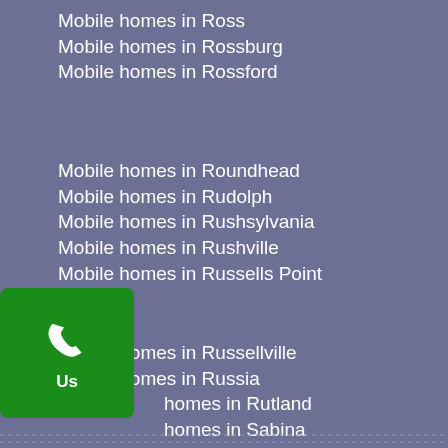Mobile homes in Ross
Mobile homes in Rossburg
Mobile homes in Rossford
Mobile homes in Roundhead
Mobile homes in Rudolph
Mobile homes in Rushsylvania
Mobile homes in Rushville
Mobile homes in Russells Point
Mobile homes in Russellville
Mobile homes in Russia
Mobile homes in Rutland
Mobile homes in Sabina
Mobile homes in Saint Clairsville
[Figure (illustration): Green phone button icon with white telephone handset icon and label 'Us']